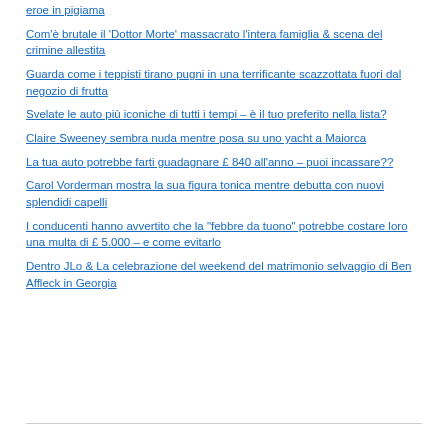eroe in pigiama
Com'è brutale il 'Dottor Morte' massacrato l'intera famiglia & scena del crimine allestita
Guarda come i teppisti tirano pugni in una terrificante scazzottata fuori dal negozio di frutta
Svelate le auto più iconiche di tutti i tempi – è il tuo preferito nella lista?
Claire Sweeney sembra nuda mentre posa su uno yacht a Maiorca
La tua auto potrebbe farti guadagnare £ 840 all'anno – puoi incassare??
Carol Vorderman mostra la sua figura tonica mentre debutta con nuovi splendidi capelli
I conducenti hanno avvertito che la "febbre da tuono" potrebbe costare loro una multa di £ 5.000 – e come evitarlo
Dentro JLo & La celebrazione del weekend del matrimonio selvaggio di Ben Affleck in Georgia